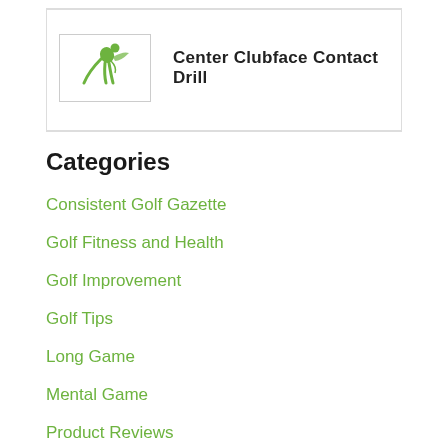[Figure (logo): Green golf player silhouette logo icon]
Center Clubface Contact Drill
Categories
Consistent Golf Gazette
Golf Fitness and Health
Golf Improvement
Golf Tips
Long Game
Mental Game
Product Reviews
Putting Game